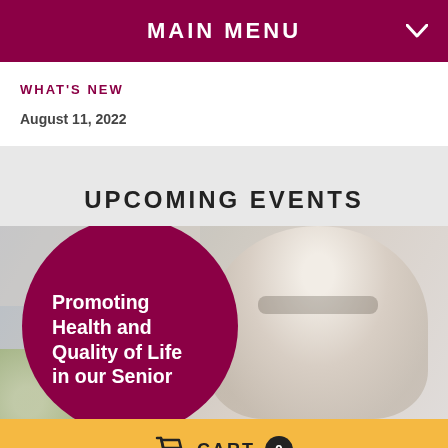MAIN MENU
WHAT'S NEW
August 11, 2022
UPCOMING EVENTS
[Figure (photo): Photo of a laughing elderly woman with glasses and white hair, with a maroon circle overlay containing text 'Promoting Health and Quality of Life in our Senior']
CART 0